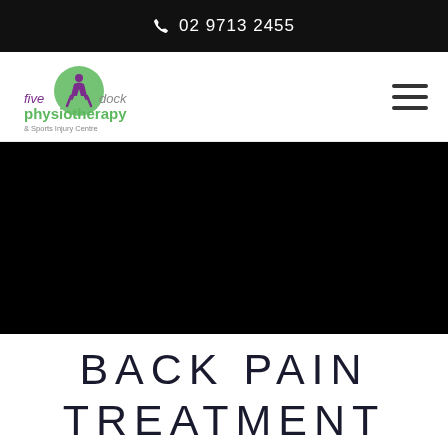02 9713 2455
[Figure (logo): Five Dock Physiotherapy & Sports Injury Centre logo — green circle with purple athlete figure, text 'five dock physiotherapy & Sports Injury Centre']
[Figure (photo): Large black hero banner image area]
BACK PAIN TREATMENT